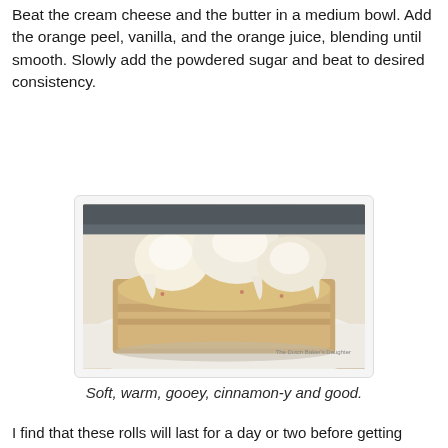Beat the cream cheese and the butter in a medium bowl. Add the orange peel, vanilla, and the orange juice, blending until smooth. Slowly add the powdered sugar and beat to desired consistency.
[Figure (photo): Photo of frosted cinnamon rolls on a white plate, topped with cream cheese frosting, with a watermark reading 'The Dutch Baker's Daughter']
Soft, warm, gooey, cinnamon-y and good.
I find that these rolls will last for a day or two before getting stale. While it